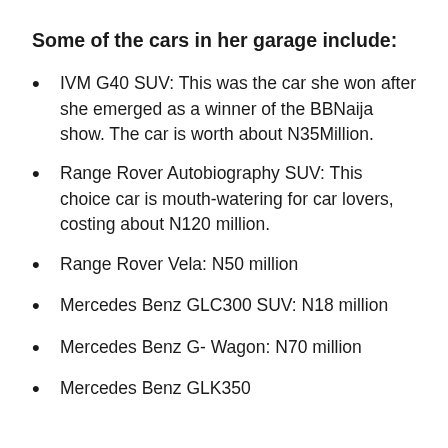Some of the cars in her garage include:
IVM G40 SUV: This was the car she won after she emerged as a winner of the BBNaija show. The car is worth about N35Million.
Range Rover Autobiography SUV: This choice car is mouth-watering for car lovers, costing about N120 million.
Range Rover Vela: N50 million
Mercedes Benz GLC300 SUV: N18 million
Mercedes Benz G- Wagon: N70 million
Mercedes Benz GLK350